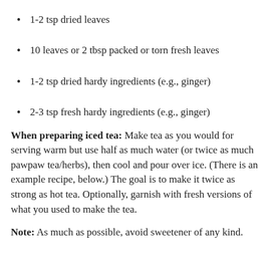1-2 tsp dried leaves
10 leaves or 2 tbsp packed or torn fresh leaves
1-2 tsp dried hardy ingredients (e.g., ginger)
2-3 tsp fresh hardy ingredients (e.g., ginger)
When preparing iced tea: Make tea as you would for serving warm but use half as much water (or twice as much pawpaw tea/herbs), then cool and pour over ice. (There is an example recipe, below.) The goal is to make it twice as strong as hot tea. Optionally, garnish with fresh versions of what you used to make the tea.
Note: As much as possible, avoid sweetener of any kind.